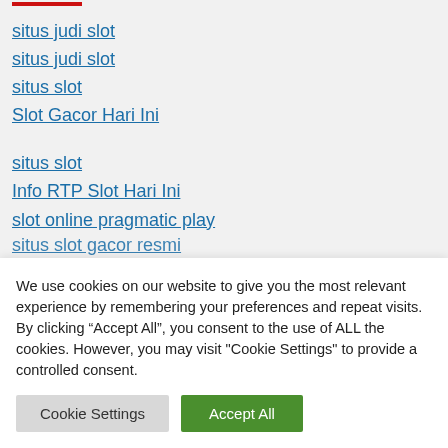situs judi slot
situs judi slot
situs slot
Slot Gacor Hari Ini
situs slot
Info RTP Slot Hari Ini
slot online pragmatic play
situs slot gacor resmi
We use cookies on our website to give you the most relevant experience by remembering your preferences and repeat visits. By clicking “Accept All”, you consent to the use of ALL the cookies. However, you may visit "Cookie Settings" to provide a controlled consent.
Cookie Settings | Accept All